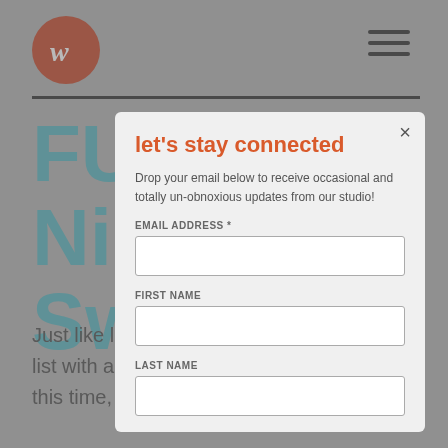[Figure (logo): Circular red/orange logo with a stylized 'w' or script letter in white]
[Figure (infographic): Hamburger menu icon (three horizontal lines) in top right]
FUZE4
Ni
Switch
Just like last time, we're rounding out our list with a bit of an unconventional pick... this time, an unreleased game.
Originally scheduled for release in early
let's stay connected
Drop your email below to receive occasional and totally un-obnoxious updates from our studio!
EMAIL ADDRESS *
FIRST NAME
LAST NAME